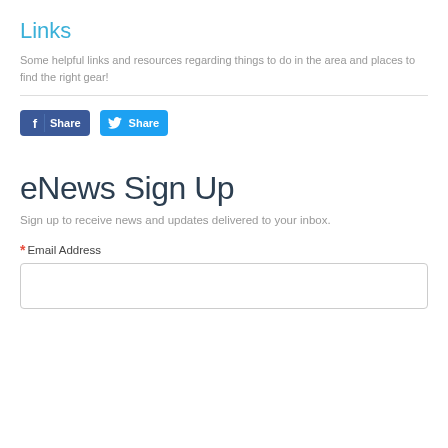Links
Some helpful links and resources regarding things to do in the area and places to find the right gear!
[Figure (other): Facebook Share button and Twitter Share button]
eNews Sign Up
Sign up to receive news and updates delivered to your inbox.
* Email Address
[Figure (other): Empty email address input text field]